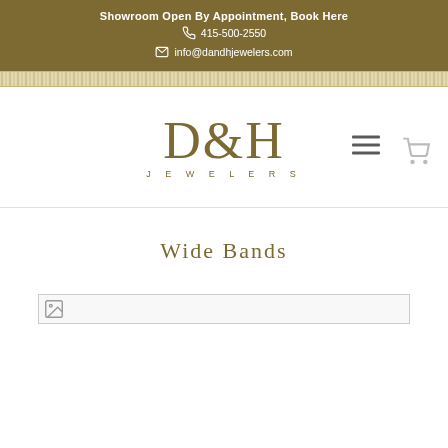Showroom Open By Appointment, Book Here
415-500-2550
info@dandhjewelers.com
[Figure (logo): D&H Jewelers logo with large serif D&H text and JEWELERS spelled out below in spaced capitals]
Wide Bands
[Figure (photo): Broken/unloaded image placeholder for Wide Bands category]